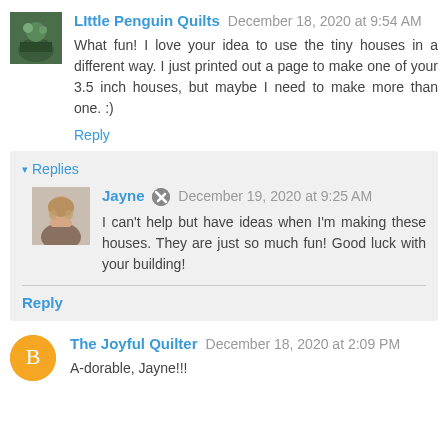Little Penguin Quilts December 18, 2020 at 9:54 AM
What fun! I love your idea to use the tiny houses in a different way. I just printed out a page to make one of your 3.5 inch houses, but maybe I need to make more than one. :)
Reply
Replies
Jayne December 19, 2020 at 9:25 AM
I can't help but have ideas when I'm making these houses. They are just so much fun! Good luck with your building!
Reply
The Joyful Quilter December 18, 2020 at 2:09 PM
A-dorable, Jayne!!!